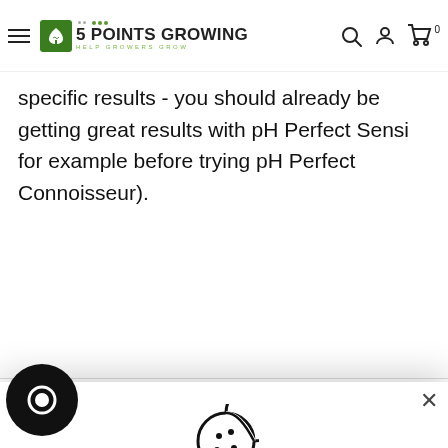5 POINTS GROWING — HELP GROWERS GROW
specific results - you should already be getting great results with pH Perfect Sensi for example before trying pH Perfect Connoisseur).
DELIVERY INFORMATION
[Figure (screenshot): Cookie consent modal with cookie icon, close button (×), text 'This website uses cookies to ensure you get the best experience. Learn more', and two buttons: Decline and Accept]
This website uses cookies to ensure you get the best experience.
Learn more
Decline
Accept